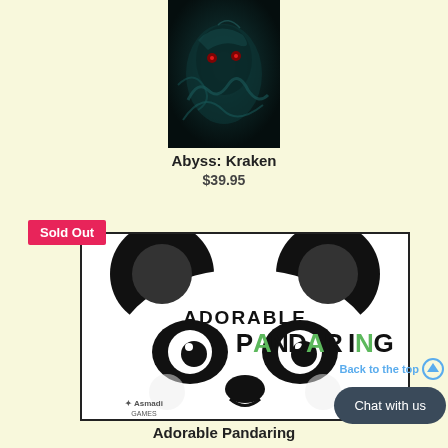[Figure (photo): Dark fantasy creature / Kraken artwork with teal/dark tones]
Abyss: Kraken
$39.95
[Figure (photo): Adorable Pandaring board game box with panda logo and Sold Out badge, Asmadi Games branding]
Adorable Pandaring